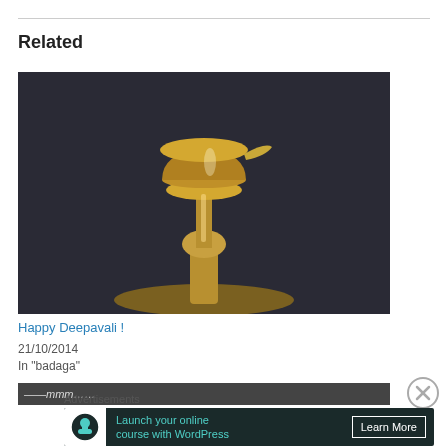Related
[Figure (photo): A brass oil lamp (vilakku/deepam) with a decorative cup at top and round base, photographed against a dark background.]
Happy Deepavali !
21/10/2014
In "badaga"
[Figure (photo): Partially visible next related post image strip with italic text.]
Advertisements
[Figure (screenshot): Advertisement banner: Launch your online course with WordPress. Learn More button on dark background with teal icon.]